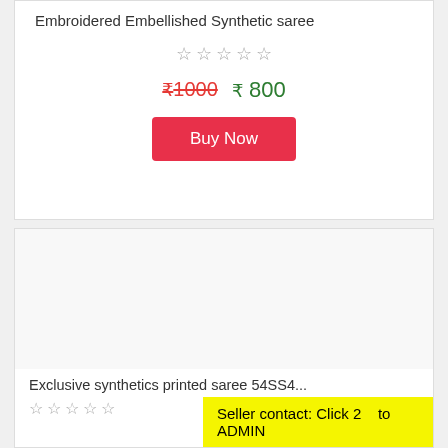Embroidered Embellished Synthetic saree
[Figure (other): Five empty star rating icons]
₹1000  ₹ 800
Buy Now
[Figure (other): Blank product image area for second saree listing]
Exclusive synthetics printed saree 54SS4...
Seller contact: Click 2    to ADMIN